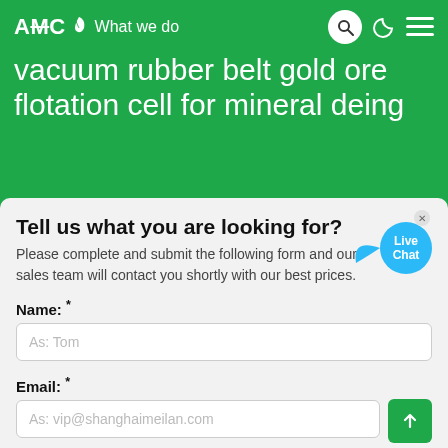AMC What we do
vacuum rubber belt gold ore flotation cell for mineral deing
Tell us what you are looking for?
Please complete and submit the following form and our sales team will contact you shortly with our best prices.
Name: *
As: Tom
Email: *
As: vip@shanghaimeilan.com
Phone: *
With Country Code